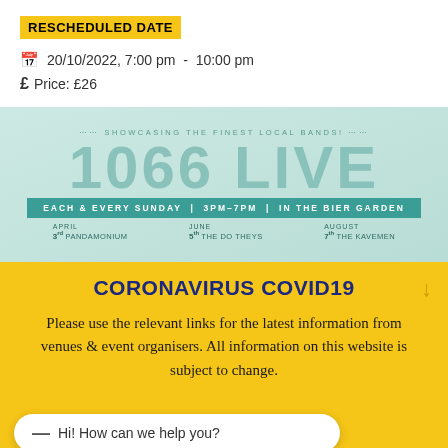RESCHEDULED DATE
20/10/2022, 7:00 pm  -  10:00 pm
Price: £26
[Figure (illustration): 1066 LIVE event banner with teal background. Text: SHOWCASING THE FINEST LOCAL BANDS! 1066 LIVE. EACH & EVERY SUNDAY | 3PM-7PM | IN THE BIER GARDEN. Dates listed: APRIL 3rd PANDAMONIUM, JUNE 5th THE DO THEYS, AUGUST 7th THE KAVEMEN]
CORONAVIRUS COVID19
Please use the relevant links for the latest information from venues & event organisers. All information on this website is subject to change.
Hi! How can we help you?